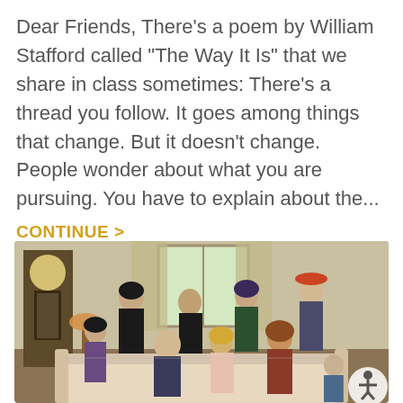Dear Friends, There's a poem by William Stafford called "The Way It Is" that we share in class sometimes: There's a thread you follow. It goes among things that change. But it doesn't change. People wonder about what you are pursuing. You have to explain about the...
CONTINUE >
[Figure (photo): Group photo of a large family (approximately 10 people of various ages including children, adults, and elderly) posed together in a living room setting with a grandfather clock and floral furniture visible. An accessibility icon appears in the bottom right corner.]